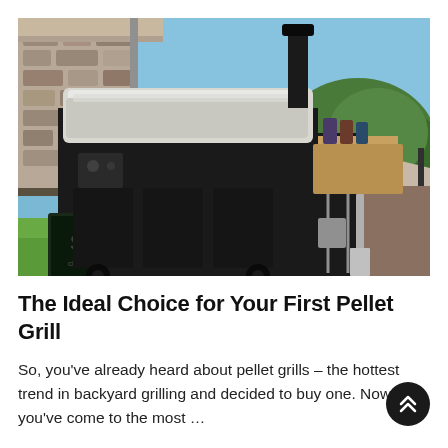[Figure (photo): A black pellet grill with a silver/white insulated lid cover, sitting on a deck outdoors. The grill has a side shelf with spice jars, grilling tools hanging on the side, and bags of pellets visible in front. A house with stone exterior and green trees/lawn are visible in the background under a blue sky.]
The Ideal Choice for Your First Pellet Grill
So, you've already heard about pellet grills – the hottest trend in backyard grilling and decided to buy one. Now you've come to the most …